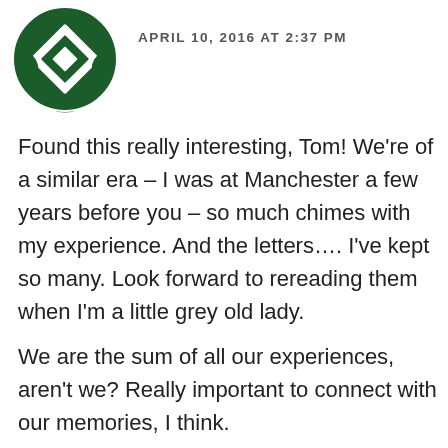[Figure (logo): Dark green decorative emblem/crest logo with diamond and leaf pattern]
APRIL 10, 2016 AT 2:37 PM
Found this really interesting, Tom! We're of a similar era – I was at Manchester a few years before you – so much chimes with my experience. And the letters…. I've kept so many. Look forward to rereading them when I'm a little grey old lady.
We are the sum of all our experiences, aren't we? Really important to connect with our memories, I think.